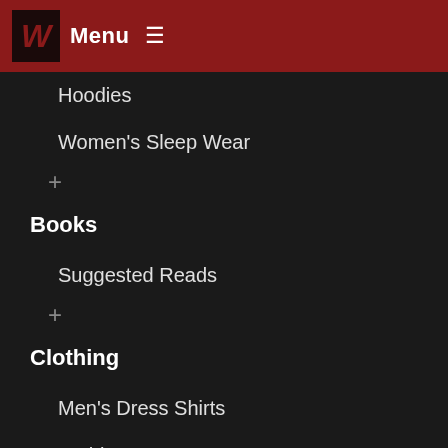W Menu ≡
Hoodies
Women's Sleep Wear
+
Books
Suggested Reads
+
Clothing
Men's Dress Shirts
T Shirts
Women's Hoodie Dresses
+
Décor